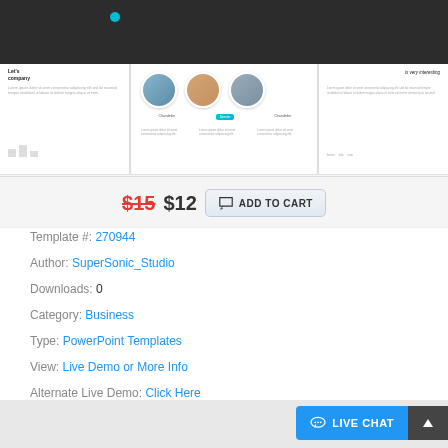[Figure (screenshot): Preview slides showing a business PowerPoint template with dark header, team member avatars, and slide content]
$15 $12  ADD TO CART
Template #: 270944
Author: SuperSonic_Studio
Downloads: 0
Category: Business
Type: PowerPoint Templates
View: Live Demo or More Info
Alternate Live Demo: Click Here
[Figure (screenshot): Bottom preview strip of additional template slides]
LIVE CHAT